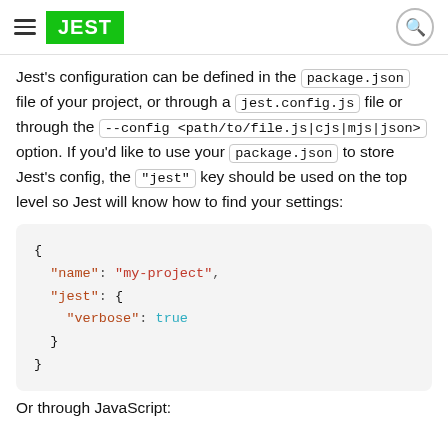JEST
Jest's configuration can be defined in the package.json file of your project, or through a jest.config.js file or through the --config <path/to/file.js|cjs|mjs|json> option. If you'd like to use your package.json to store Jest's config, the "jest" key should be used on the top level so Jest will know how to find your settings:
{
  "name": "my-project",
  "jest": {
    "verbose": true
  }
}
Or through JavaScript: